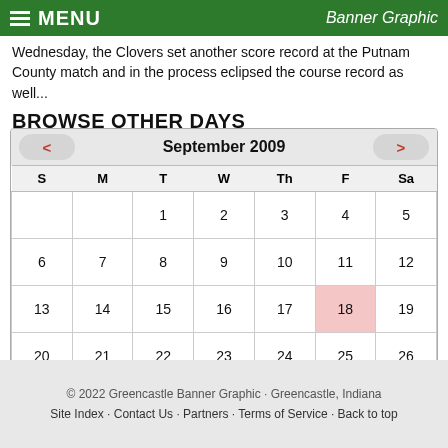MENU  Banner Graphic
Wednesday, the Clovers set another score record at the Putnam County match and in the process eclipsed the course record as well...
BROWSE OTHER DAYS
| S | M | T | W | Th | F | Sa |
| --- | --- | --- | --- | --- | --- | --- |
|  |  | 1 | 2 | 3 | 4 | 5 |
| 6 | 7 | 8 | 9 | 10 | 11 | 12 |
| 13 | 14 | 15 | 16 | 17 | 18 | 19 |
| 20 | 21 | 22 | 23 | 24 | 25 | 26 |
| 27 | 28 | 29 | 30 |  |  |  |
© 2022 Greencastle Banner Graphic · Greencastle, Indiana
Site Index · Contact Us · Partners · Terms of Service · Back to top